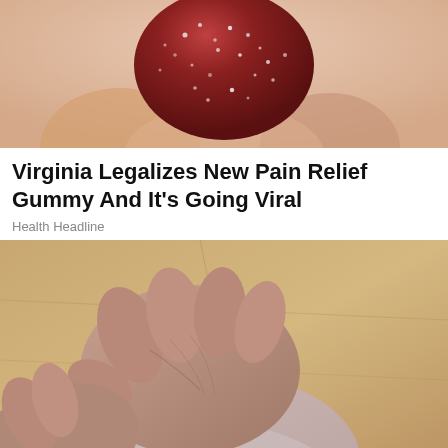[Figure (photo): Close-up photo of a dark red gummy candy held in a person's hand, with a granular/sugary texture visible on the surface.]
Virginia Legalizes New Pain Relief Gummy And It's Going Viral
Health Headline
[Figure (photo): Close-up photo of an elderly person's hands massaging or holding another person's ankle/foot area, with a wooden floor visible in the background. A small 'x' close button appears in the bottom-right corner.]